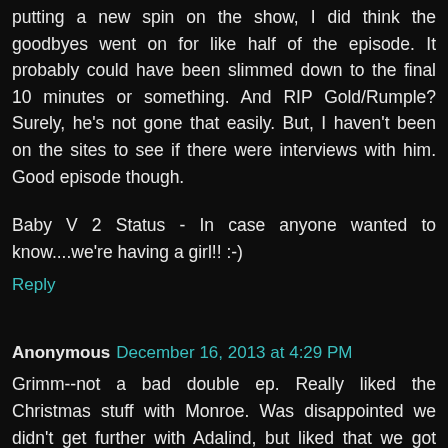putting a new spin on the show, I did think the goodbyes went on for like half of the episode. It probably could have been slimmed down to the final 10 minutes or something. And RIP Gold/Rumple? Surely, he's not gone that easily. But, I haven't been on the sites to see if there were interviews with him. Good episode though.
Baby V 2 Status - In case anyone wanted to know....we're having a girl!! :-)
Reply
Anonymous December 16, 2013 at 4:29 PM
Grimm--not a bad double ep. Really liked the Christmas stuff with Monroe. Was disappointed we didn't get further with Adalind, but liked that we got somewhere with Renard in Europe. Good show. Nick is growing in maturity as a real Grimm fighter.
Rewatching some Farscape,other. Mostly old movies.
Just saw the latest Superman on BluRay--I think it's the